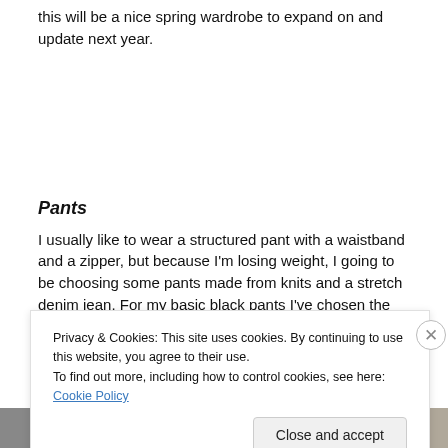this will be a nice spring wardrobe to expand on and update next year.
Pants
I usually like to wear a structured pant with a waistband and a zipper, but because I'm losing weight, I going to be choosing some pants made from knits and a stretch denim jean. For my basic black pants I've chosen the SOS pants
Privacy & Cookies: This site uses cookies. By continuing to use this website, you agree to their use.
To find out more, including how to control cookies, see here: Cookie Policy
Close and accept